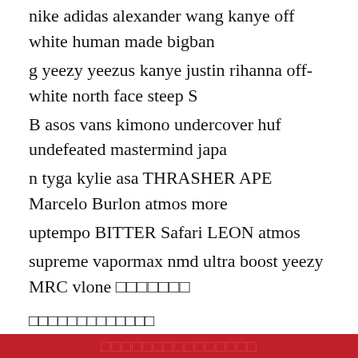nike adidas alexander wang kanye off white human made bigbang yeezy yeezus kanye justin rihanna off-white north face steep SB asos vans kimono undercover huf undefeated mastermind japan tyga kylie asa THRASHER APE Marcelo Burlon atmos more uptempo BITTER Safari LEON atmos
supreme vapormax nmd ultra boost yeezy M​RC vlone □□□□□□□
□□□□□□□□□□□□□
□□□□□□□□□□□□□□□
[Figure (photo): Two people, a man in a light blue shirt and a woman in a beige top, sitting together, partially visible at bottom of page]